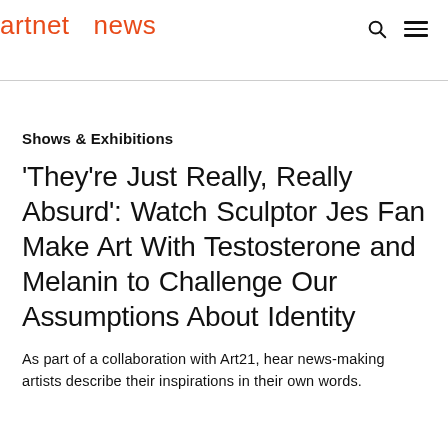artnet news
Shows & Exhibitions
'They're Just Really, Really Absurd': Watch Sculptor Jes Fan Make Art With Testosterone and Melanin to Challenge Our Assumptions About Identity
As part of a collaboration with Art21, hear news-making artists describe their inspirations in their own words.